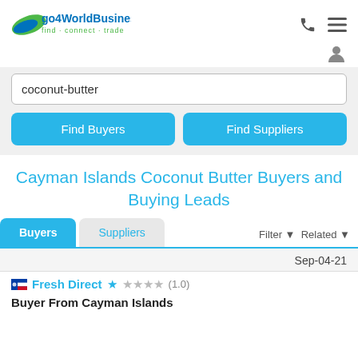[Figure (logo): go4WorldBusiness logo with tagline 'find - connect - trade']
coconut-butter
Find Buyers
Find Suppliers
Cayman Islands Coconut Butter Buyers and Buying Leads
Buyers
Suppliers
Filter ▼  Related ▼
Sep-04-21
Fresh Direct ★☆☆☆☆ (1.0)
Buyer From Cayman Islands